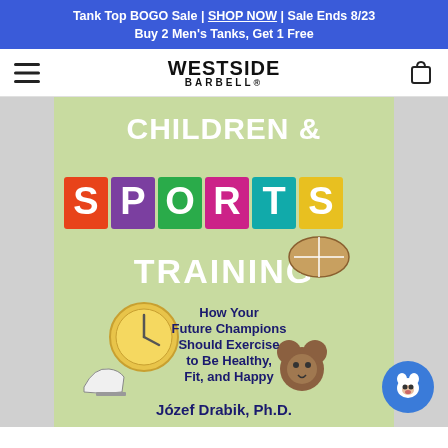Tank Top BOGO Sale | SHOP NOW | Sale Ends 8/23
Buy 2 Men's Tanks, Get 1 Free
[Figure (logo): Westside Barbell logo with hamburger menu and cart icon in navigation bar]
[Figure (illustration): Book cover: Children & Sports Training — How Your Future Champions Should Exercise to Be Healthy, Fit, and Happy by Józef Drabik, Ph.D. Colorful cover with sports items including a clock, football helmet, ice skates, teddy bear, and letter tiles spelling SPORTS.]